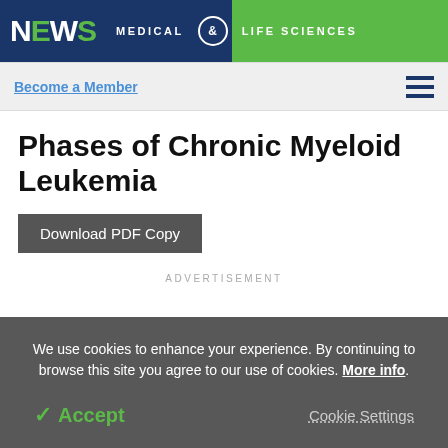NEWS MEDICAL & LIFE SCIENCES
Become a Member
Phases of Chronic Myeloid Leukemia
Download PDF Copy
ADVERTISEMENT
We use cookies to enhance your experience. By continuing to browse this site you agree to our use of cookies. More info.
✓ Accept
Cookie Settings